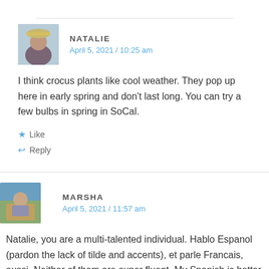NATALIE
April 5, 2021 / 10:25 am
I think crocus plants like cool weather. They pop up here in early spring and don't last long. You can try a few bulbs in spring in SoCal.
Like
Reply
MARSHA
April 5, 2021 / 11:57 am
Natalie, you are a multi-talented individual. Hablo Espanol (pardon the lack of tilde and accents), et parle Francais, aussi. Neither of them are super fluent. My Spanish is better than my